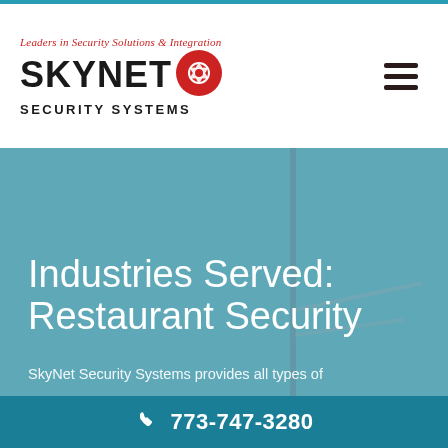[Figure (logo): SkyNet Security Systems logo with camera aperture icon in red circle, tagline: Leaders in Security Solutions & Integration]
[Figure (photo): Background photo of a security camera pole against a teal/blue sky, muted teal overlay]
Industries Served: Restaurant Security
SkyNet Security Systems provides all types of
773-747-3280